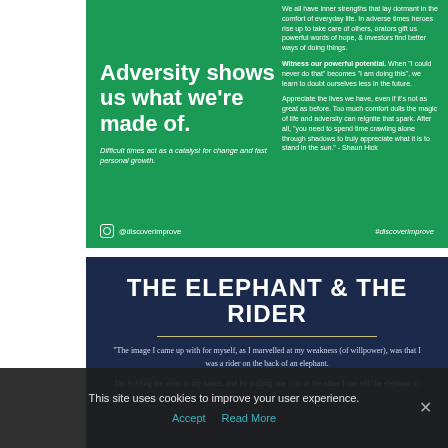[Figure (infographic): Green background card with bold white text 'Adversity shows us what we're made of.' and italic subtitle, plus right-side paragraphs about adversity and potential, with Instagram footer]
[Figure (infographic): Dark navy blue card with large white uppercase text 'THE ELEPHANT & THE RIDER', gold divider line, and white italic quote text about willpower metaphor]
This site uses cookies to improve your user experience.
Accept   Read More